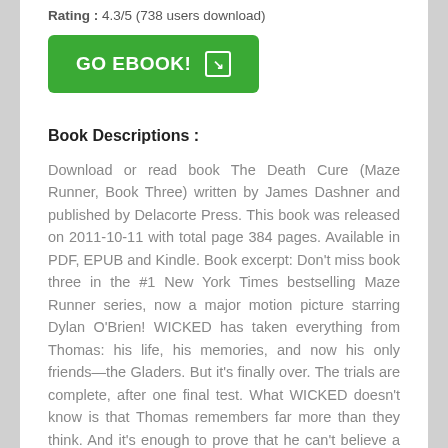Rating : 4.3/5 (738 users download)
[Figure (other): Green GO EBOOK! button with arrow icon]
Book Descriptions :
Download or read book The Death Cure (Maze Runner, Book Three) written by James Dashner and published by Delacorte Press. This book was released on 2011-10-11 with total page 384 pages. Available in PDF, EPUB and Kindle. Book excerpt: Don't miss book three in the #1 New York Times bestselling Maze Runner series, now a major motion picture starring Dylan O'Brien! WICKED has taken everything from Thomas: his life, his memories, and now his only friends—the Gladers. But it's finally over. The trials are complete, after one final test. What WICKED doesn't know is that Thomas remembers far more than they think. And it's enough to prove that he can't believe a word of what they say. Thomas beat the Maze. He survived the Scorch.